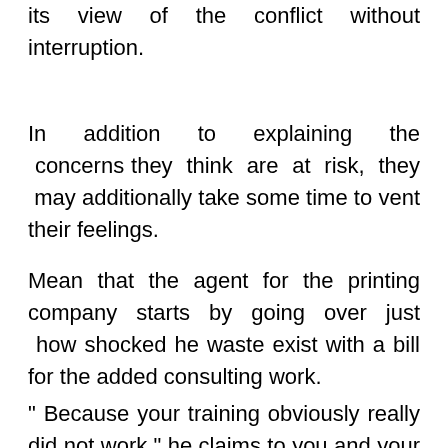its view of the conflict without interruption.
In addition to explaining the concerns they think are at risk, they may additionally take some time to vent their feelings.
Mean that the agent for the printing company starts by going over just how shocked he waste exist with a bill for the added consulting work.
" Because your training obviously really did not work," he claims to you and your team, "I do not understand how you can charge us for the work you stopped